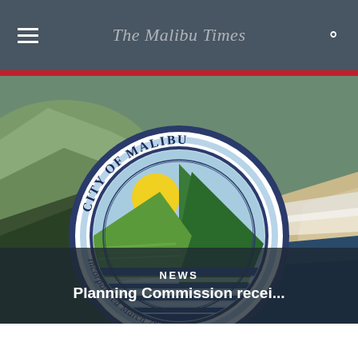The Malibu Times
[Figure (photo): Aerial coastal photograph of Malibu with the City of Malibu official seal overlaid in the center. The seal features a circular design with 'CITY OF MALIBU' text at top, a scene of hills, sun, and ocean waves inside, and 'Incorporated March 28, 1991' text at the bottom.]
NEWS
Planning Commission recei...